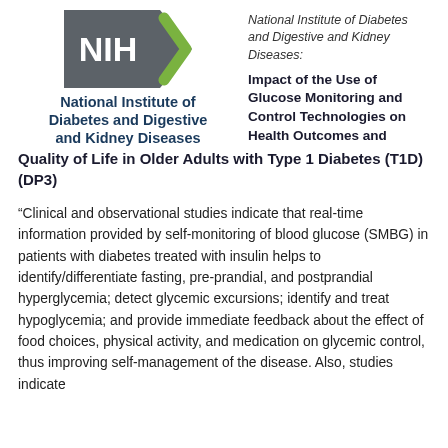[Figure (logo): NIH logo with gray pentagon shape containing white NIH text and green chevron arrow to the right]
National Institute of Diabetes and Digestive and Kidney Diseases
National Institute of Diabetes and Digestive and Kidney Diseases:
Impact of the Use of Glucose Monitoring and Control Technologies on Health Outcomes and Quality of Life in Older Adults with Type 1 Diabetes (T1D) (DP3)
“Clinical and observational studies indicate that real-time information provided by self-monitoring of blood glucose (SMBG) in patients with diabetes treated with insulin helps to identify/differentiate fasting, pre-prandial, and postprandial hyperglycemia; detect glycemic excursions; identify and treat hypoglycemia; and provide immediate feedback about the effect of food choices, physical activity, and medication on glycemic control, thus improving self-management of the disease. Also, studies indicate